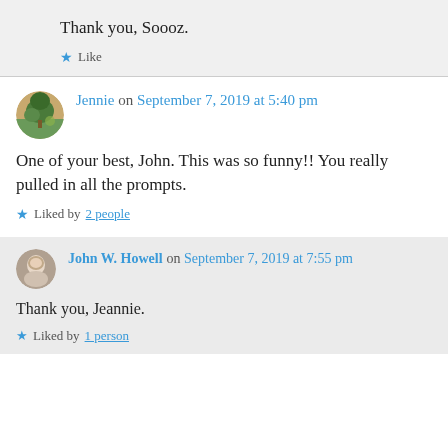Thank you, Soooz.
Like
Jennie on September 7, 2019 at 5:40 pm
One of your best, John. This was so funny!! You really pulled in all the prompts.
Liked by 2 people
John W. Howell on September 7, 2019 at 7:55 pm
Thank you, Jeannie.
Liked by 1 person